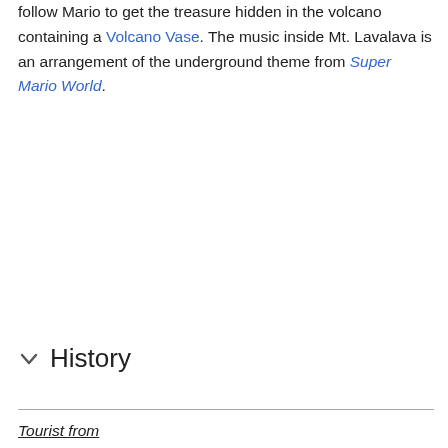follow Mario to get the treasure hidden in the volcano containing a Volcano Vase. The music inside Mt. Lavalava is an arrangement of the underground theme from Super Mario World.
History
Tourist from